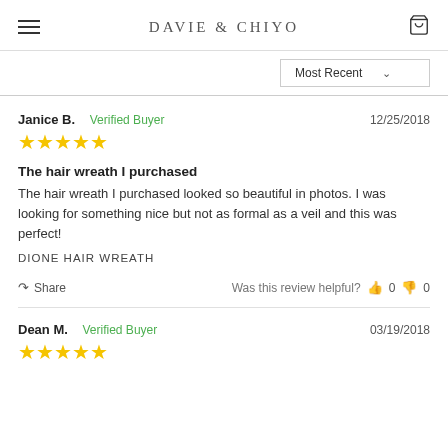DAVIE & CHIYO
Most Recent
Janice B.  Verified Buyer  12/25/2018  ★★★★★
The hair wreath I purchased
The hair wreath I purchased looked so beautiful in photos. I was looking for something nice but not as formal as a veil and this was perfect!
DIONE HAIR WREATH
Share  Was this review helpful?  👍 0  👎 0
Dean M.  Verified Buyer  03/19/2018  ★★★★★